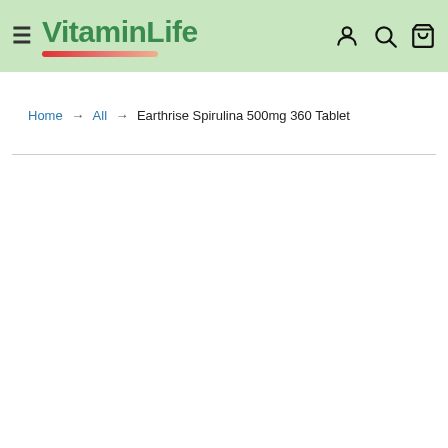VitaminLife
Home → All → Earthrise Spirulina 500mg 360 Tablet